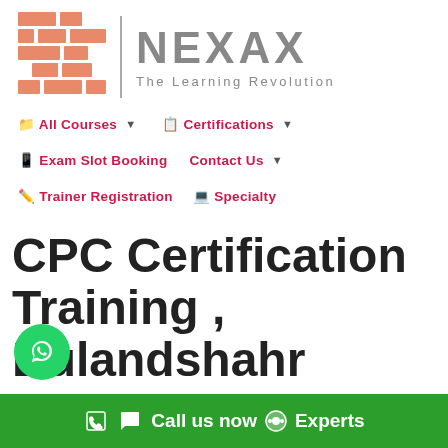[Figure (logo): NEXAX logo with orange brick pattern icon, vertical divider, NEXAX text in gray, tagline 'The Learning Revolution']
📁 All Courses ▼   📋 Certifications ▼
📱 Exam Slot Booking   Contact Us ▼
✏️ Trainer Registration   💻 Specialty
CPC Certification Training , Bulandshahr
📞 Call us now 💬 Experts